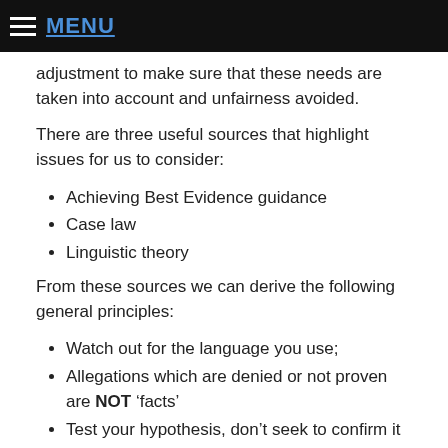MENU
adjustment to make sure that these needs are taken into account and unfairness avoided.
There are three useful sources that highlight issues for us to consider:
Achieving Best Evidence guidance
Case law
Linguistic theory
From these sources we can derive the following general principles:
Watch out for the language you use;
Allegations which are denied or not proven are NOT ‘facts’
Test your hypothesis, don’t seek to confirm it